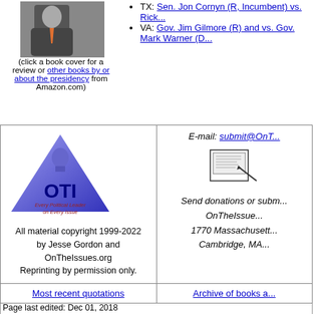[Figure (photo): Photo of a person in suit with crossed arms, partially cropped]
(click a book cover for a review or other books by or about the presidency from Amazon.com)
TX: Sen. John Cornyn (R, Incumbent) vs. Rick...
VA: Gov. Jim Gilmore (R) and vs. Gov. Mark Warner (D...
[Figure (logo): OTI logo - blue triangle/capitol dome shape with OTI text and tagline Every Political Leader on Every Issue]
All material copyright 1999-2022 by Jesse Gordon and OnTheIssues.org Reprinting by permission only.
E-mail: submit@OnT...
[Figure (illustration): Small fax machine icon illustration]
Send donations or subm... OnTheIssue... 1770 Massachusett... Cambridge, MA...
Most recent quotations
Archive of books a...
Page last edited: Dec 01, 2018